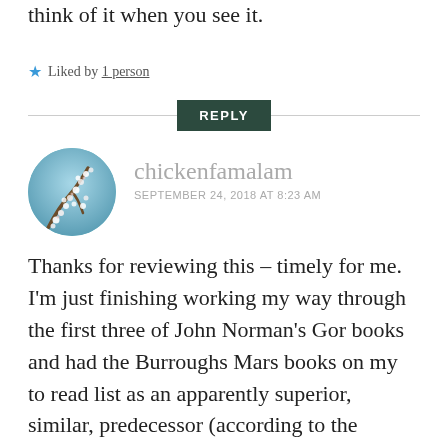think of it when you see it.
★ Liked by 1 person
REPLY
[Figure (photo): Circular avatar image of a painting with white blossoms on blue/teal background (Van Gogh style almond blossoms)]
chickenfamalam
SEPTEMBER 24, 2018 AT 8:23 AM
Thanks for reviewing this – timely for me. I'm just finishing working my way through the first three of John Norman's Gor books and had the Burroughs Mars books on my to read list as an apparently superior, similar, predecessor (according to the reviews I've read anyway). The Gor books have taxed my patience